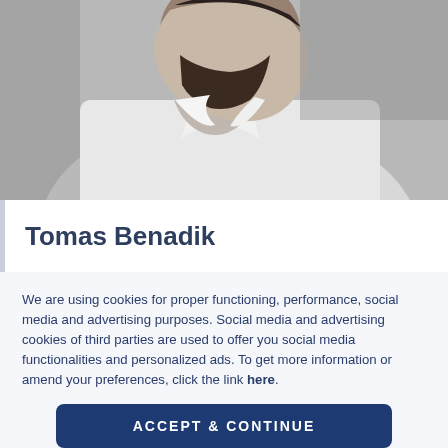[Figure (photo): Black and white profile photo of a bearded man in a white shirt, photographed from the side/slightly behind, looking upward]
Tomas Benadik
We are using cookies for proper functioning, performance, social media and advertising purposes. Social media and advertising cookies of third parties are used to offer you social media functionalities and personalized ads. To get more information or amend your preferences, click the link here.
ACCEPT & CONTINUE